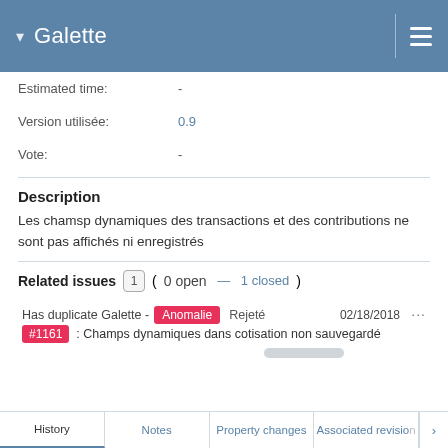Galette
Estimated time: -
Version utilisée: 0.9
Vote: -
Description
Les chamsp dynamiques des transactions et des contributions ne sont pas affichés ni enregistrés
Related issues 1 (0 open — 1 closed)
Has duplicate Galette - Anomalie #1161 : Champs dynamiques dans cotisation non sauvegardé   Rejeté   02/18/2018